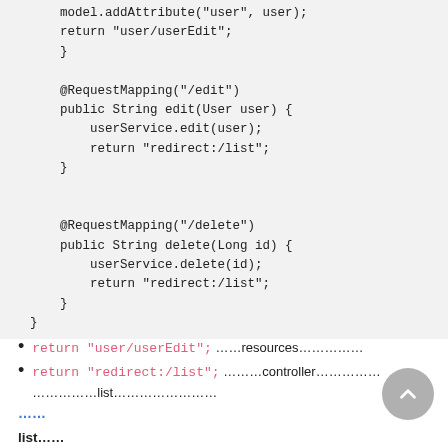model.addAttribute("user", user);
    return "user/userEdit";
}

@RequestMapping("/edit")
public String edit(User user) {
    userService.edit(user);
    return "redirect:/list";
}


@RequestMapping("/delete")
public String delete(Long id) {
    userService.delete(id);
    return "redirect:/list";
}
}
return "user/userEdit"; ……resources……………
return "redirect:/list"; ………controller……………………………list……………………
……
list……